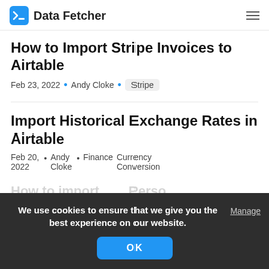Feb 24, 2022 • Andy Cloke • Stripe
How to Import Stripe Invoices to Airtable
Feb 23, 2022 • Andy Cloke • Stripe
Import Historical Exchange Rates in Airtable
Feb 20, 2022 • Andy Cloke • Finance • Currency Conversion
We use cookies to ensure that we give you the best experience on our website.
Manage
OK